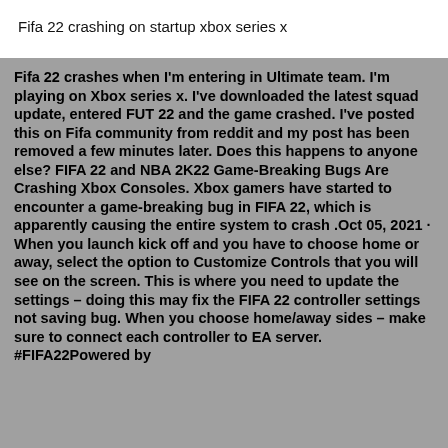Fifa 22 crashing on startup xbox series x
Fifa 22 crashes when I'm entering in Ultimate team. I'm playing on Xbox series x. I've downloaded the latest squad update, entered FUT 22 and the game crashed. I've posted this on Fifa community from reddit and my post has been removed a few minutes later. Does this happens to anyone else? FIFA 22 and NBA 2K22 Game-Breaking Bugs Are Crashing Xbox Consoles. Xbox gamers have started to encounter a game-breaking bug in FIFA 22, which is apparently causing the entire system to crash .Oct 05, 2021 · When you launch kick off and you have to choose home or away, select the option to Customize Controls that you will see on the screen. This is where you need to update the settings – doing this may fix the FIFA 22 controller settings not saving bug. When you choose home/away sides – make sure to connect each controller to EA server. #FIFA22Powered by